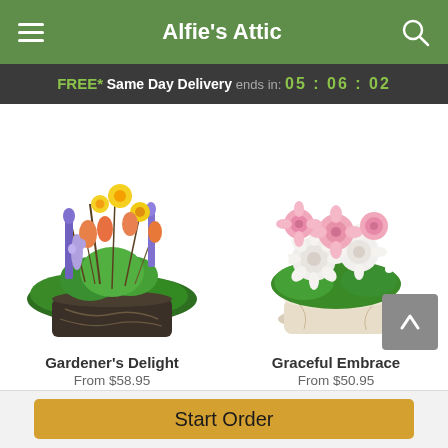Alfie's Attic
FREE* Same Day Delivery ends in: 05 : 06 : 02
[Figure (photo): Gardener's Delight flower arrangement - colorful spring flowers including orange roses, yellow daffodils, purple hyacinths, and tulips in a dark decorative rectangular pot]
[Figure (photo): Graceful Embrace flower arrangement - pink roses and white chrysanthemums in a cream-colored ceramic round vase]
Gardener's Delight
From $58.95
Graceful Embrace
From $50.95
Start Order